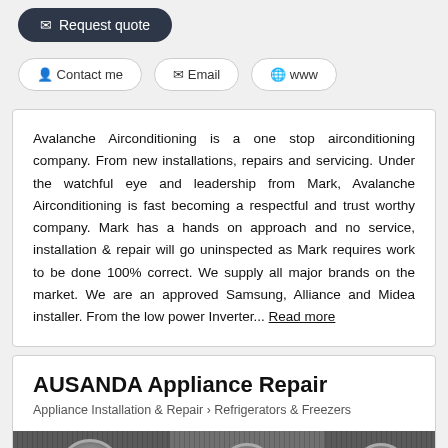[Figure (other): Dark rounded button with envelope icon and 'Request quote' text]
[Figure (other): Three rounded outline buttons: 'Contact me' (person icon), 'Email' (envelope icon), 'www' (globe icon)]
Avalanche Airconditioning is a one stop airconditioning company. From new installations, repairs and servicing. Under the watchful eye and leadership from Mark, Avalanche Airconditioning is fast becoming a respectful and trust worthy company. Mark has a hands on approach and no service, installation & repair will go uninspected as Mark requires work to be done 100% correct. We supply all major brands on the market. We are an approved Samsung, Alliance and Midea installer. From the low power Inverter... Read more
AUSANDA Appliance Repair
Appliance Installation & Repair > Refrigerators & Freezers
[Figure (photo): Three AC outdoor unit images side by side showing fan grilles and compressor units]